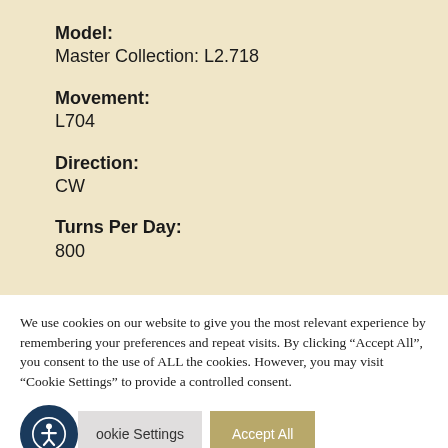Model:
Master Collection: L2.718
Movement:
L704
Direction:
CW
Turns Per Day:
800
We use cookies on our website to give you the most relevant experience by remembering your preferences and repeat visits. By clicking “Accept All”, you consent to the use of ALL the cookies. However, you may visit “Cookie Settings” to provide a controlled consent.